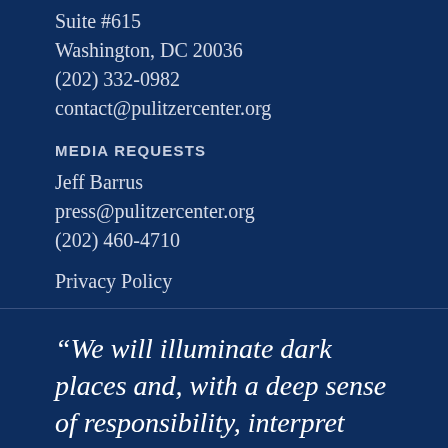Suite #615
Washington, DC 20036
(202) 332-0982
contact@pulitzercenter.org
MEDIA REQUESTS
Jeff Barrus
press@pulitzercenter.org
(202) 460-4710
Privacy Policy
“We will illuminate dark places and, with a deep sense of responsibility, interpret these troubled times.”
Joseph Pulitzer III (1913–1993)